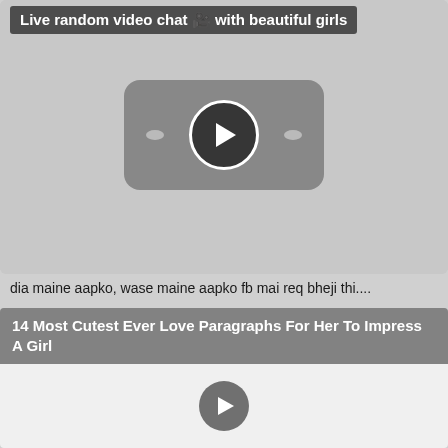Live random video chat 🎥 with beautiful girls
[Figure (screenshot): Video thumbnail with play button, rounded rectangle shape with two dots on sides]
dia maine aapko, wase maine aapko fb mai req bheji thi....
14 Most Cutest Ever Love Paragraphs For Her To Impress A Girl
[Figure (screenshot): Video thumbnail with play button on white background]